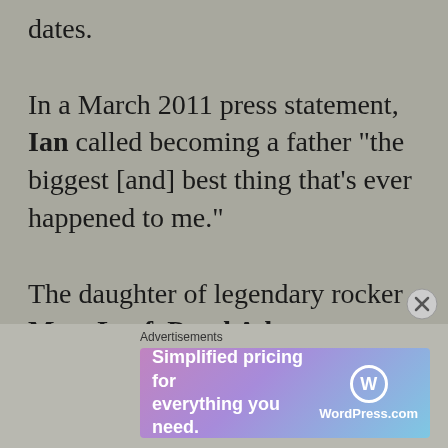dates. In a March 2011 press statement, Ian called becoming a father "the biggest [and] best thing that's ever happened to me." The daughter of legendary rocker Meat Loaf, Pearl Aday was named after the infamous Janis Joplin and is the god daughter to Maria Muldaur. In
Advertisements
[Figure (other): WordPress.com advertisement banner: 'Simplified pricing for everything you need.' with WordPress.com logo]